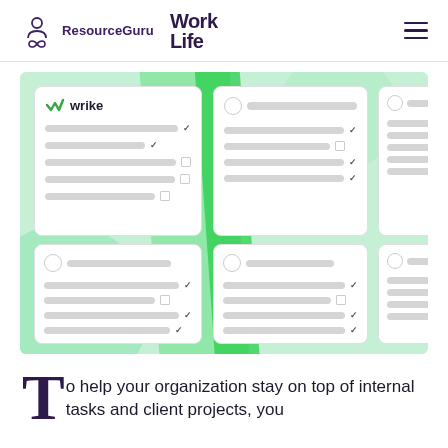ResourceGuru  WorkLife
[Figure (screenshot): Wrike project management software interface screenshot showing multiple task list cards on a green background. Top-left card shows the Wrike logo with checkmark and several task rows with gray bars and checkmarks. Other cards show similar task list layouts with circular avatars, title bars, and task item bars with check marks.]
To help your organization stay on top of internal tasks and client projects, you